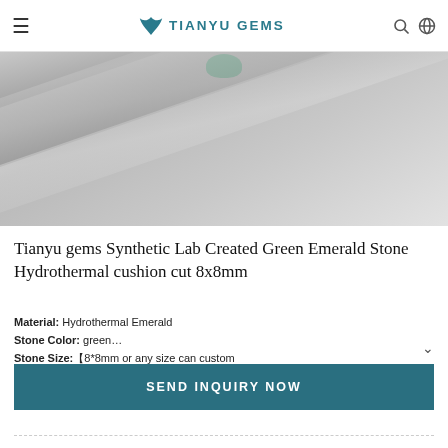TIANYU GEMS
[Figure (photo): Close-up photo of a lab-created green emerald gemstone with metal tweezers or setting tool against a grey background]
Tianyu gems Synthetic Lab Created Green Emerald Stone Hydrothermal cushion cut 8x8mm
Material: Hydrothermal Emerald
Stone Color: green…
Stone Size: 8*8mm or any size can custom
Shape: cushion
SEND INQUIRY NOW